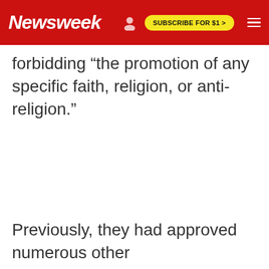Newsweek | SUBSCRIBE FOR $1 >
forbidding "the promotion of any specific faith, religion, or anti-religion."
Previously, they had approved numerous other